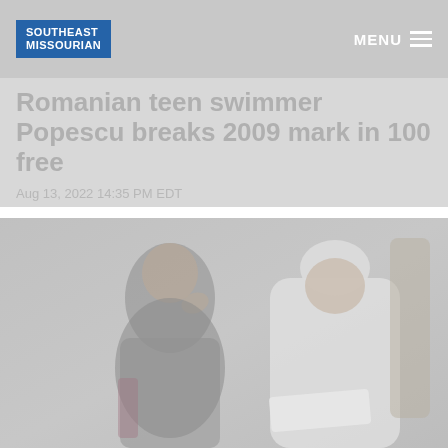SOUTHEAST MISSOURIAN   MENU
Romanian teen swimmer Popescu breaks 2009 mark in 100 free
Aug 13, 2022 14:35 PM EDT
[Figure (photo): Two figures seated, one in white papal vestments and white zucchetto reading documents, the other in dark clerical attire, set against a neutral grey background.]